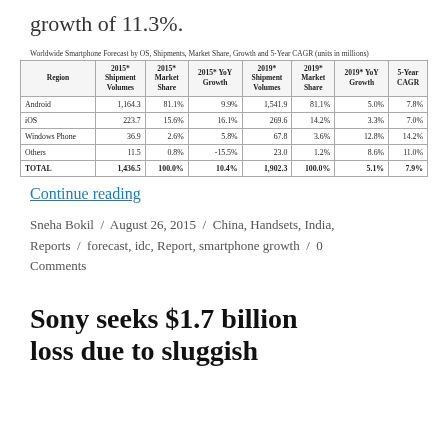growth of 11.3%.
Worldwide Smartphone Forecast by OS, Shipments, Market Share, Growth and 5-Year CAGR (units in millions)
| Region | 2015* Shipment Volumes | 2015* Market Share | 2015* YoY Growth | 2019* Shipment Volumes | 2019* Market Share | 2019* YoY Growth | 5-Year CAGR |
| --- | --- | --- | --- | --- | --- | --- | --- |
| Android | 1,164.3 | 81.1% | 9.9% | 1,541.9 | 81.1% | 5.0% | 7.8% |
| iOS | 223.7 | 15.6% | 16.1% | 269.6 | 14.2% | 3.3% | 7.0% |
| Windows Phone | 36.9 | 2.6% | 5.8% | 67.8 | 3.6% | 12.8% | 14.2% |
| Others | 11.5 | 0.8% | -15.5% | 23.0 | 1.2% | 8.6% | 11.0% |
| TOTAL | 1,436.5 | 100.0% | 10.4% | 1,902.3 | 100.0% | 5.1% | 7.9% |
Continue reading
Sneha Bokil / August 26, 2015 / China, Handsets, India, Reports / forecast, idc, Report, smartphone growth / 0 Comments
Sony seeks $1.7 billion loss due to sluggish